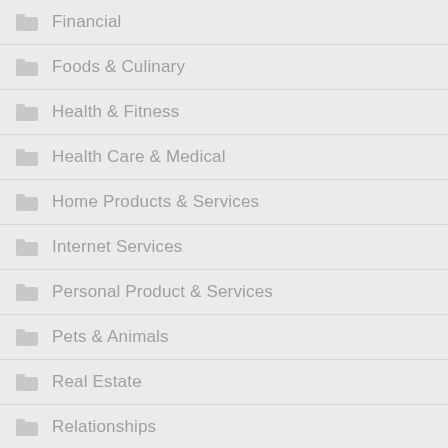Financial
Foods & Culinary
Health & Fitness
Health Care & Medical
Home Products & Services
Internet Services
Personal Product & Services
Pets & Animals
Real Estate
Relationships